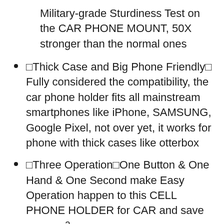Military-grade Sturdiness Test on the CAR PHONE MOUNT, 50X stronger than the normal ones
🔲Thick Case and Big Phone Friendly🔲 Fully considered the compatibility, the car phone holder fits all mainstream smartphones like iPhone, SAMSUNG, Google Pixel, not over yet, it works for phone with thick cases like otterbox
🔲Three Ones = Easy Operation🔲One Button & One Hand & One Second make Easy Operation happen to this CELL PHONE HOLDER for CAR and save you 365² seconds a year
🔲Adjustable As You Wish🔲Adjustment makes this cell phone automobile